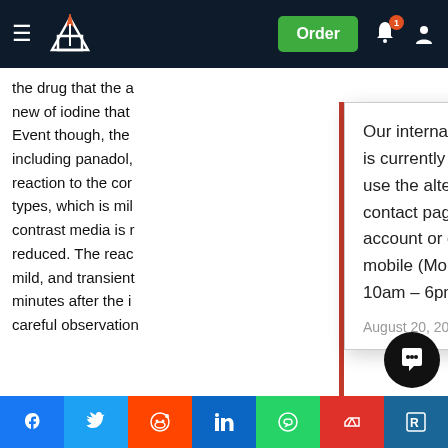[Figure (screenshot): Website navigation bar with hamburger menu, book/pen logo, Order button (green), notification bell with badge '1', and user account icon, on dark navy background]
the drug that the a new of iodine that Event though, the including panadol, reaction to the con types, which is mil contrast media is r reduced. The reac mild, and transient minutes after the i careful observation
Our international phone number (+971 600 575 297) is currently out of service. Whilst we fix this, please use the alternative phone numbers provided on the contact page, message through your customer account or click the WhatsApp button from your mobile (Monday – Friday 9am – 5pm, Saturday 10am – 6pm UK time).
August 20, 2022
reaction is nausea, a warm feeling that may be associated with hot flushing, pallor, a metallic taste in mouth, sneezing, rhinorrhoea, itching and sweating. Treatment mild reactions usually only involves observation of the patient ano a more severe reaction in which medical treatment is necessary
[Figure (screenshot): Social sharing bar with icons for Facebook, Twitter, Reddit, LinkedIn, WhatsApp, Mendeley, and ResearchGate]